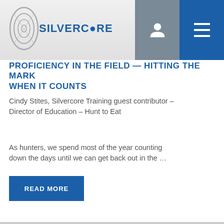Silvercore
PROFICIENCY IN THE FIELD — HITTING THE MARK WHEN IT COUNTS
Cindy Stites, Silvercore Training guest contributor – Director of Education – Hunt to Eat
As hunters, we spend most of the year counting down the days until we can get back out in the …
READ MORE